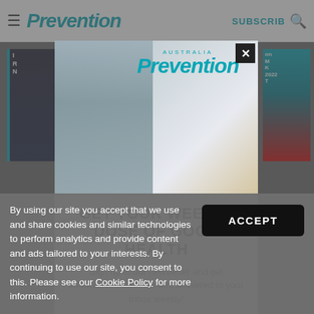Prevention AUSTRALIA | SUBSCRIBE
[Figure (screenshot): Prevention Australia website modal popup with newsletter signup form. Background shows dimmed website content. Modal contains Prevention Australia logo, headline 'GET YOUR WEEKLY DOSE OF GOOD HEALTH', body text 'Sign up to our newsletter and get informative health content delivered to your Inbox weekly!', and an email input field. A close (X) button is in the top right corner.]
GET YOUR WEEKLY DOSE OF GOOD HEALTH
Sign up to our newsletter and get informative health content delivered to your Inbox weekly!
By using our site you accept that we use and share cookies and similar technologies to perform analytics and provide content and ads tailored to your interests. By continuing to use our site, you consent to this. Please see our Cookie Policy for more information.